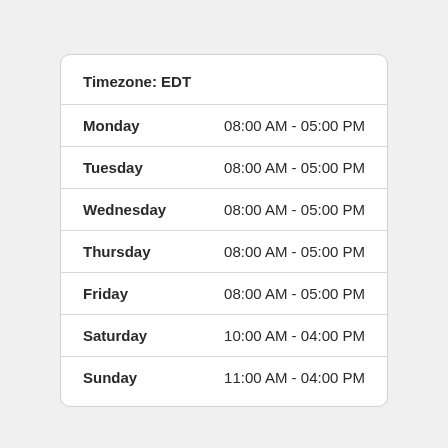| Day | Hours |
| --- | --- |
| Monday | 08:00 AM - 05:00 PM |
| Tuesday | 08:00 AM - 05:00 PM |
| Wednesday | 08:00 AM - 05:00 PM |
| Thursday | 08:00 AM - 05:00 PM |
| Friday | 08:00 AM - 05:00 PM |
| Saturday | 10:00 AM - 04:00 PM |
| Sunday | 11:00 AM - 04:00 PM |